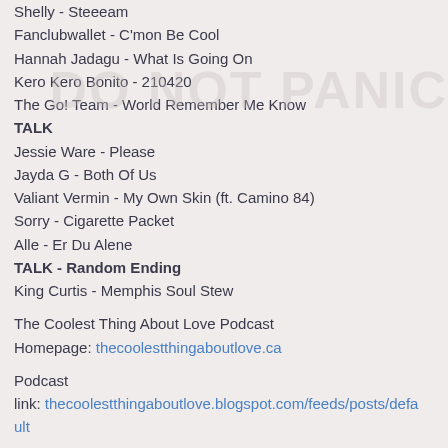Shelly - Steeeam
Fanclubwallet - C'mon Be Cool
Hannah Jadagu - What Is Going On
Kero Kero Bonito - 210420
The Go! Team - World Remember Me Know
TALK
Jessie Ware - Please
Jayda G - Both Of Us
Valiant Vermin - My Own Skin (ft. Camino 84)
Sorry - Cigarette Packet
Alle - Er Du Alene
TALK - Random Ending
King Curtis - Memphis Soul Stew
The Coolest Thing About Love Podcast
Homepage: thecoolestthingaboutlove.ca
Podcast
link: thecoolestthingaboutlove.blogspot.com/feeds/posts/default
iTunes link: https://itunes.apple.com/ca/podcast/the-coolest